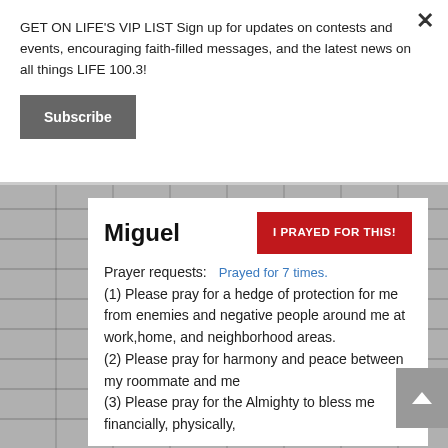GET ON LIFE'S VIP LIST Sign up for updates on contests and events, encouraging faith-filled messages, and the latest news on all things LIFE 100.3!
Subscribe
Miguel
I PRAYED FOR THIS!
Prayer requests:
Prayed for 7 times.
(1) Please pray for a hedge of protection for me from enemies and negative people around me at work,home, and neighborhood areas. (2) Please pray for harmony and peace between my roommate and me (3) Please pray for the Almighty to bless me financially, physically,